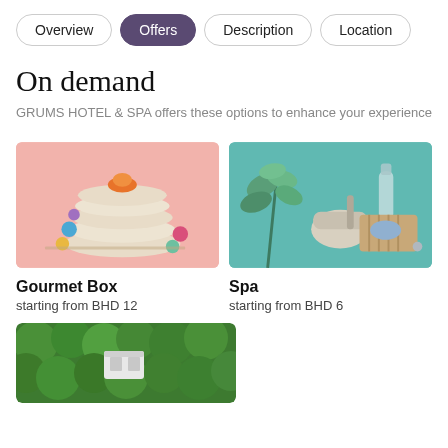Overview | Offers | Description | Location
On demand
GRUMS HOTEL & SPA offers these options to enhance your experience
[Figure (photo): Stacked macarons/cookies with colorful meringue decorations on a pink background]
Gourmet Box
starting from BHD 12
[Figure (photo): Spa products including eucalyptus, mortar and pestle, soap bar on teal background]
Spa
starting from BHD 6
[Figure (photo): Aerial view of green trees/nature with a white building or structure visible]